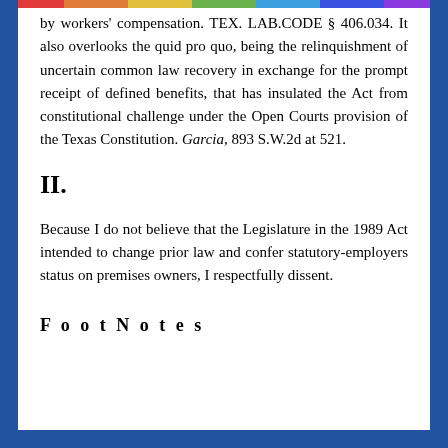by workers' compensation. TEX. LAB.CODE § 406.034. It also overlooks the quid pro quo, being the relinquishment of uncertain common law recovery in exchange for the prompt receipt of defined benefits, that has insulated the Act from constitutional challenge under the Open Courts provision of the Texas Constitution. Garcia, 893 S.W.2d at 521.
II.
Because I do not believe that the Legislature in the 1989 Act intended to change prior law and confer statutory-employers status on premises owners, I respectfully dissent.
FootNotes